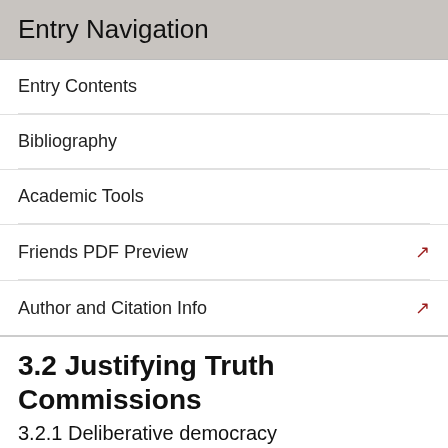Entry Navigation
Entry Contents
Bibliography
Academic Tools
Friends PDF Preview
Author and Citation Info
3.2 Justifying Truth Commissions
3.2.1 Deliberative democracy
Gutmann and Thompson (2000) argue that a justification of a truth commission needs to meet three criteria relevant for the justification of all democratic institutions: it must be moral in principle, inclusive, and moral in practice. The first condition rules out what the authors call the realist justification—the claim that the compromise embodied in the TRC was necessary in order to avoid a civil war. The second demands that the justification